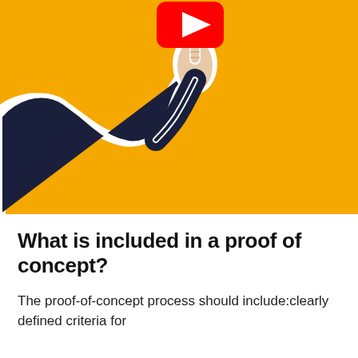[Figure (illustration): Orange background with a cutout-style person in dark clothing pointing upward with one finger, and a red YouTube play button logo above them.]
What is included in a proof of concept?
The proof-of-concept process should include:clearly defined criteria for